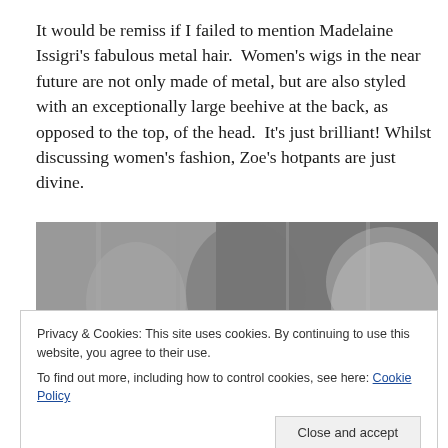It would be remiss if I failed to mention Madelaine Issigri's fabulous metal hair.  Women's wigs in the near future are not only made of metal, but are also styled with an exceptionally large beehive at the back, as opposed to the top, of the head.  It's just brilliant! Whilst discussing women's fashion, Zoe's hotpants are just divine.
[Figure (photo): Black and white photograph showing people, partially visible, appearing to be a scene from a film or TV show.]
Privacy & Cookies: This site uses cookies. By continuing to use this website, you agree to their use.
To find out more, including how to control cookies, see here: Cookie Policy
Close and accept